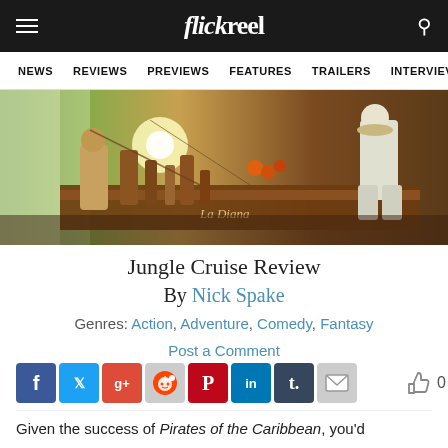flickreel
NEWS   REVIEWS   PREVIEWS   FEATURES   TRAILERS   INTERVIEWS
[Figure (photo): Hero image from Jungle Cruise film showing a rustic wooden boat named 'La Diana' with mechanical equipment and two figures in a jungle/waterfall setting]
Jungle Cruise Review
By Nick Spake
Genres: Action, Adventure, Comedy, Fantasy
Post a Comment
[Figure (infographic): Social sharing icons row: Facebook, Twitter, Google+, Reddit, Pinterest, LinkedIn, Tumblr, Email, and a thumbs-up with count 0]
Given the success of Pirates of the Caribbean, you'd think that Disney would have long ago...